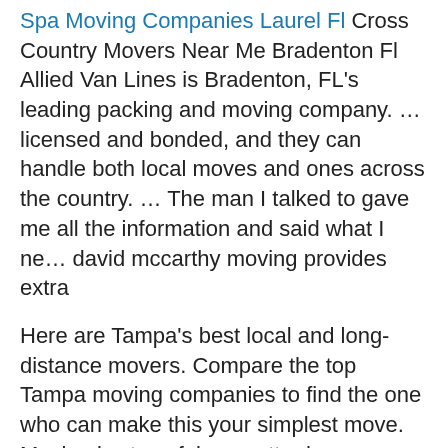Spa Moving Companies Laurel Fl Cross Country Movers Near Me Bradenton Fl Allied Van Lines is Bradenton, FL's leading packing and moving company. … licensed and bonded, and they can handle both local moves and ones across the country. … The man I talked to gave me all the information and said what I ne… david mccarthy moving provides extra
Here are Tampa's best local and long-distance movers. Compare the top Tampa moving companies to find the one who can make this your simplest move. Moving is stressful no matter how many times you've done it. When choosing a Tampa moving com...